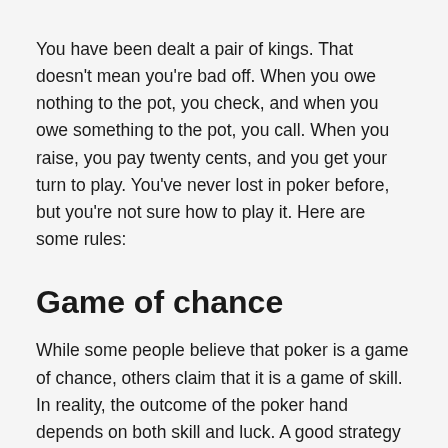You have been dealt a pair of kings. That doesn't mean you're bad off. When you owe nothing to the pot, you check, and when you owe something to the pot, you call. When you raise, you pay twenty cents, and you get your turn to play. You've never lost in poker before, but you're not sure how to play it. Here are some rules:
Game of chance
While some people believe that poker is a game of chance, others claim that it is a game of skill. In reality, the outcome of the poker hand depends on both skill and luck. A good strategy will help you make the most of the cards you are dealt, but luck will always be a part of the game, too. This article explains the difference between skill and chance in poker. And how to determine whether poker is truly a game of...